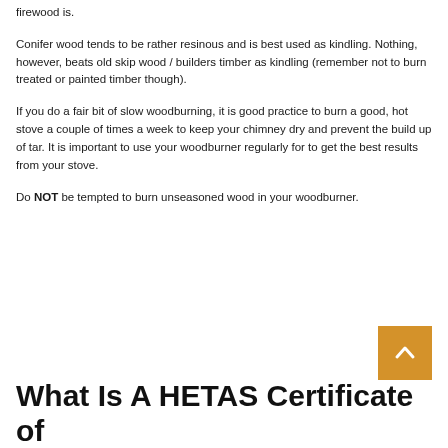firewood is.
Conifer wood tends to be rather resinous and is best used as kindling. Nothing, however, beats old skip wood / builders timber as kindling (remember not to burn treated or painted timber though).
If you do a fair bit of slow woodburning, it is good practice to burn a good, hot stove a couple of times a week to keep your chimney dry and prevent the build up of tar. It is important to use your woodburner regularly for to get the best results from your stove.
Do NOT be tempted to burn unseasoned wood in your woodburner.
[Figure (other): Orange/amber scroll-to-top button with upward-pointing chevron arrow]
What Is A HETAS Certificate of